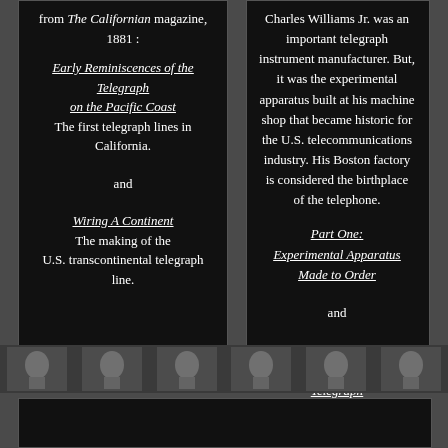from The Californian magazine, 1881 :
Early Reminiscences of the Telegraph on the Pacific Coast
The first telegraph lines in California.

and

Wiring A Continent
The making of the U.S. transcontinental telegraph line.
Charles Williams Jr. was an important telegraph instrument manufacturer. But, it was the experimental apparatus built at his machine shop that became historic for the U.S. telecommunications industry. His Boston factory is considered the birthplace of the telephone.

Part One:
Experimental Apparatus Made to Order

and

Part Two:
Human Voice Sent via Telegraph
[Figure (illustration): Decorative footer strip with repeated telegraph/figure icons in grayscale]